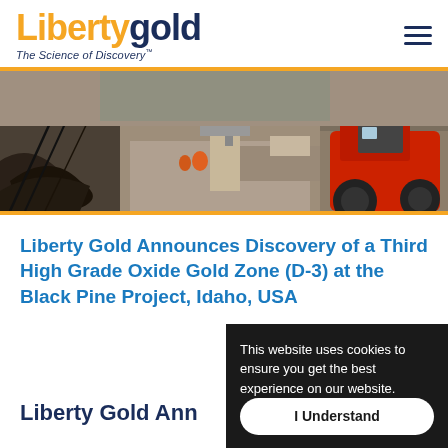[Figure (logo): Liberty Gold logo with tagline 'The Science of Discovery']
[Figure (photo): Aerial view of mining drill site with red tractor/drill vehicle and workers on rocky terrain]
Liberty Gold Announces Discovery of a Third High Grade Oxide Gold Zone (D-3) at the Black Pine Project, Idaho, USA
This website uses cookies to ensure you get the best experience on our website.
I Understand
Liberty Gold Ann